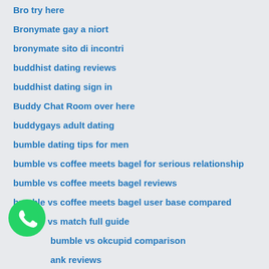Bro try here
Bronymate gay a niort
bronymate sito di incontri
buddhist dating reviews
buddhist dating sign in
Buddy Chat Room over here
buddygays adult dating
bumble dating tips for men
bumble vs coffee meets bagel for serious relationship
bumble vs coffee meets bagel reviews
bumble vs coffee meets bagel user base compared
bumble vs match full guide
bumble vs okcupid comparison
ank reviews
BusinessArticle Marketing
[Figure (logo): WhatsApp logo icon — green circle with white phone handset inside]